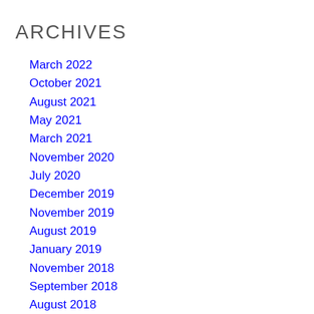ARCHIVES
March 2022
October 2021
August 2021
May 2021
March 2021
November 2020
July 2020
December 2019
November 2019
August 2019
January 2019
November 2018
September 2018
August 2018
July 2018
June 2018